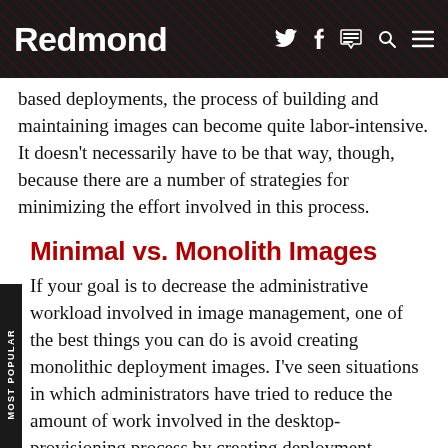Redmond
based deployments, the process of building and maintaining images can become quite labor-intensive. It doesn't necessarily have to be that way, though, because there are a number of strategies for minimizing the effort involved in this process.
Minimal vs. Monolith Images
If your goal is to decrease the administrative workload involved in image management, one of the best things you can do is avoid creating monolithic deployment images. I've seen situations in which administrators have tried to reduce the amount of work involved in the desktop-provisioning process by creating deployment images that contain OSes, a driver